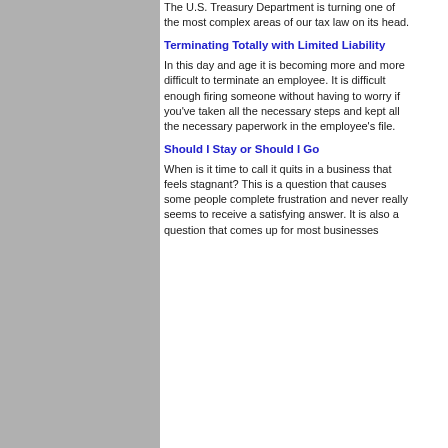The U.S. Treasury Department is turning one of the most complex areas of our tax law on its head.
Terminating Totally with Limited Liability
In this day and age it is becoming more and more difficult to terminate an employee. It is difficult enough firing someone without having to worry if you've taken all the necessary steps and kept all the necessary paperwork in the employee's file.
Should I Stay or Should I Go
When is it time to call it quits in a business that feels stagnant? This is a question that causes some people complete frustration and never really seems to receive a satisfying answer. It is also a question that comes up for most businesses